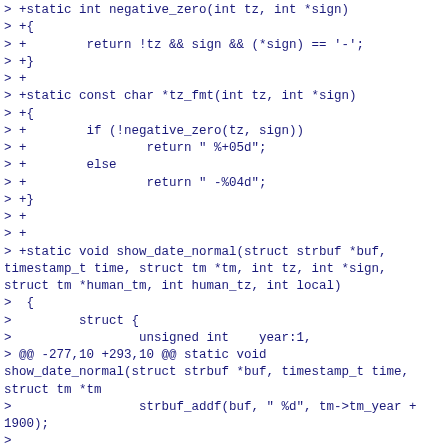[Figure (screenshot): Code diff showing C source code additions and modifications for timezone formatting functions including negative_zero, tz_fmt, and show_date_normal in a git diff view.]